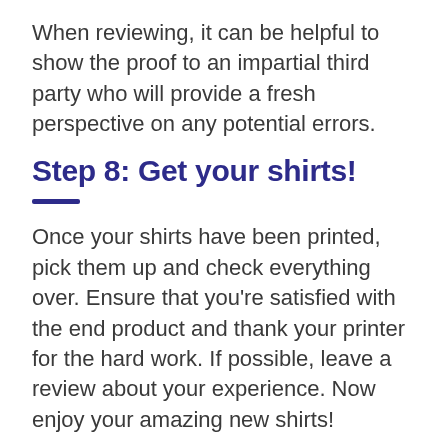When reviewing, it can be helpful to show the proof to an impartial third party who will provide a fresh perspective on any potential errors.
Step 8: Get your shirts!
Once your shirts have been printed, pick them up and check everything over. Ensure that you’re satisfied with the end product and thank your printer for the hard work. If possible, leave a review about your experience. Now enjoy your amazing new shirts!